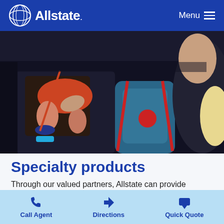Allstate — Menu
[Figure (photo): A child being helped into a car seat by an adult, with a blue backpack visible in the back seat of a vehicle.]
Specialty products
Through our valued partners, Allstate can provide
Call Agent   Directions   Quick Quote